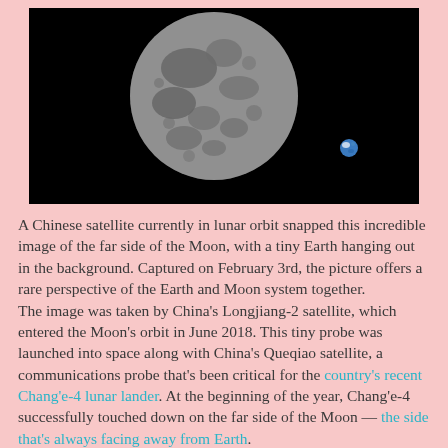[Figure (photo): Black and white photograph showing the far side of the Moon as a large sphere against a black background, with a small blue Earth visible in the lower right area of the image.]
A Chinese satellite currently in lunar orbit snapped this incredible image of the far side of the Moon, with a tiny Earth hanging out in the background. Captured on February 3rd, the picture offers a rare perspective of the Earth and Moon system together.
The image was taken by China's Longjiang-2 satellite, which entered the Moon's orbit in June 2018. This tiny probe was launched into space along with China's Queqiao satellite, a communications probe that's been critical for the country's recent Chang'e-4 lunar lander. At the beginning of the year, Chang'e-4 successfully touched down on the far side of the Moon — the side that's always facing away from Earth.
Queqiao is located in a stable position near the Moon, where it relays radio signals from Longjiang-2 and the Chang'e-4